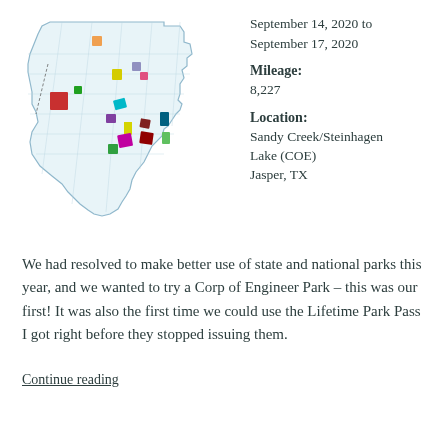[Figure (map): Map of Texas with colored county/region markers showing various camping/park locations across the state]
September 14, 2020 to September 17, 2020
Mileage: 8,227
Location: Sandy Creek/Steinhagen Lake (COE) Jasper, TX
We had resolved to make better use of state and national parks this year, and we wanted to try a Corp of Engineer Park – this was our first! It was also the first time we could use the Lifetime Park Pass I got right before they stopped issuing them.
Continue reading